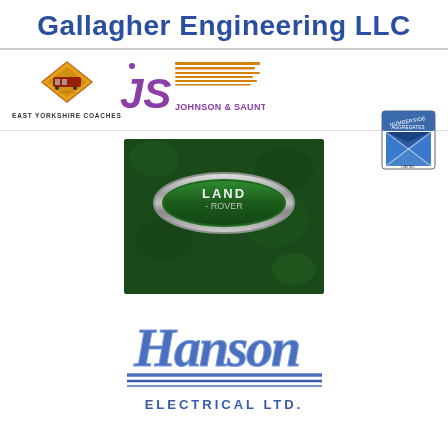Gallagher Engineering LLC
[Figure (logo): East Yorkshire Coaches logo - orange diamond with coach illustration and company name below]
[Figure (logo): JS Johnson & Saunt Ltd logo - purple JS letters with horizontal orange lines and company name]
[Figure (logo): Humberside Aggregates Limited logo - blue envelope/diamond shape with Scottish flag]
[Figure (logo): Land Rover Hatfields logo - green oval Land Rover badge on dark green textured background with HATFIELDS text below]
[Figure (logo): Hanson Electrical Ltd logo - blue italic script Hanson with horizontal lines and ELECTRICAL LTD text below]